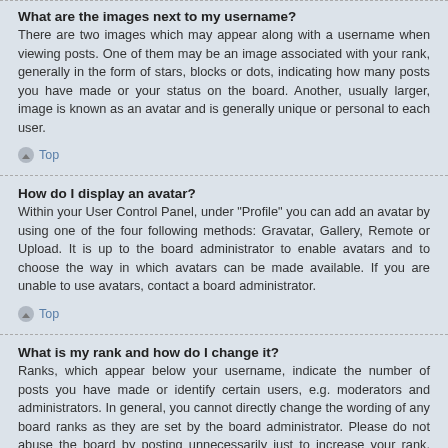What are the images next to my username?
There are two images which may appear along with a username when viewing posts. One of them may be an image associated with your rank, generally in the form of stars, blocks or dots, indicating how many posts you have made or your status on the board. Another, usually larger, image is known as an avatar and is generally unique or personal to each user.
Top
How do I display an avatar?
Within your User Control Panel, under "Profile" you can add an avatar by using one of the four following methods: Gravatar, Gallery, Remote or Upload. It is up to the board administrator to enable avatars and to choose the way in which avatars can be made available. If you are unable to use avatars, contact a board administrator.
Top
What is my rank and how do I change it?
Ranks, which appear below your username, indicate the number of posts you have made or identify certain users, e.g. moderators and administrators. In general, you cannot directly change the wording of any board ranks as they are set by the board administrator. Please do not abuse the board by posting unnecessarily just to increase your rank. Most boards will not tolerate this and the moderator or administrator will simply lower your post count.